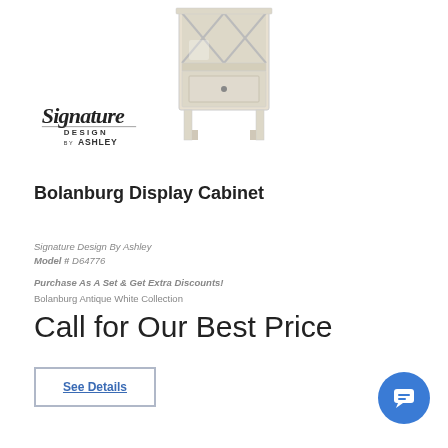[Figure (photo): Bolanburg Display Cabinet product photo - antique white wood cabinet with X-back design and single drawer]
[Figure (logo): Signature Design by Ashley logo in cursive/script style]
Bolanburg Display Cabinet
Signature Design By Ashley
Model # D64776
Purchase As A Set & Get Extra Discounts!
Bolanburg Antique White Collection
Call for Our Best Price
See Details